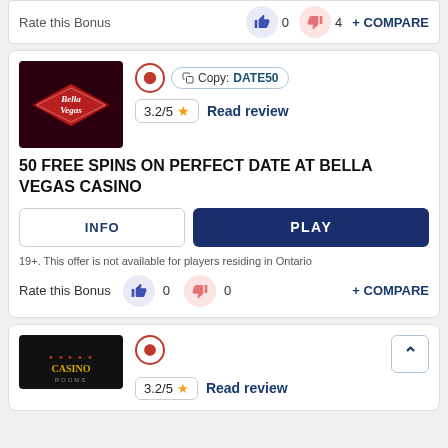Rate this Bonus  0  4  + COMPARE
[Figure (screenshot): Bella Vegas Casino card with logo, copy code DATE50, rating 3.2/5, bonus title, INFO and PLAY buttons, disclaimer, and rate this bonus row]
50 FREE SPINS ON PERFECT DATE AT BELLA VEGAS CASINO
19+. This offer is not available for players residing in Ontario
Rate this Bonus  0  0  + COMPARE
[Figure (screenshot): Second casino card partially visible at bottom with dark logo and maple leaf icon]